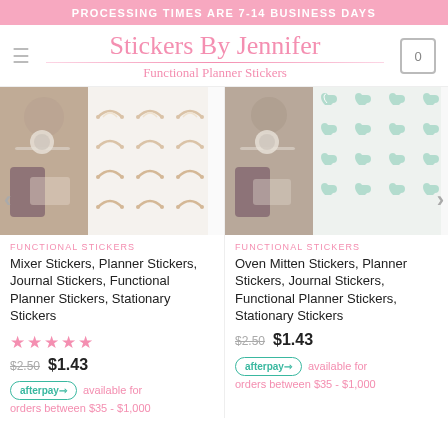PROCESSING TIMES ARE 7-14 BUSINESS DAYS
[Figure (screenshot): Website header with hamburger menu icon, 'Stickers By Jennifer / Functional Planner Stickers' logo in pink cursive, and a shopping cart icon showing 0]
[Figure (photo): Product photo of Mixer Stickers showing two views: lifestyle shot with watch and pink/purple fabric, and a sheet of gold/beige mixer sticker icons]
FUNCTIONAL STICKERS
Mixer Stickers, Planner Stickers, Journal Stickers, Functional Planner Stickers, Stationary Stickers
[Figure (other): 5-star rating in pink stars]
$2.50  $1.43
afterpay  available for orders between $35 - $1,000
[Figure (photo): Product photo of Oven Mitten Stickers showing two views: lifestyle shot with watch and purple fabric, and a sheet of mint/teal oven mitten sticker icons]
FUNCTIONAL STICKERS
Oven Mitten Stickers, Planner Stickers, Journal Stickers, Functional Planner Stickers, Stationary Stickers
$2.50  $1.43
afterpay  available for orders between $35 - $1,000